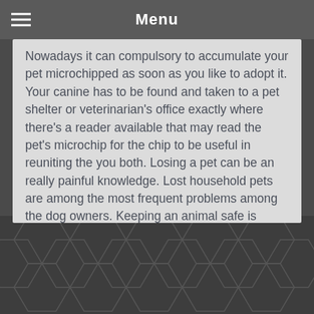Menu
Nowadays it can compulsory to accumulate your pet microchipped as soon as you like to adopt it. Your canine has to be found and taken to a pet shelter or veterinarian's office exactly where there's a reader available that may read the pet's microchip for the chip to be useful in reuniting the you both. Losing a pet can be an really painful knowledge. Lost household pets are among the most frequent problems among the dog owners. Keeping an animal safe is really a hardcore task which usually very few persons know about. Yes and no for you to trail many pets using just one single base product.